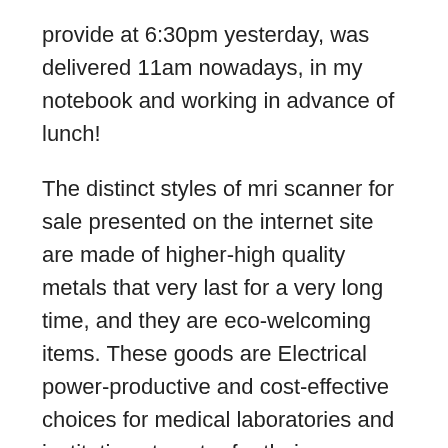provide at 6:30pm yesterday, was delivered 11am nowadays, in my notebook and working in advance of lunch!
The distinct styles of mri scanner for sale presented on the internet site are made of higher-high quality metals that very last for a very long time, and they are eco-welcoming items. These goods are Electrical power-productive and cost-effective choices for medical laboratories and institutions to cater for their requirements.
SIMSCAN 3D Scanner. SIMSCAN, the only real hand-sized transportable 3D scanner out there so far, is a disruptive innovation of the normal 3D scanners' construction along with a innovative product or service